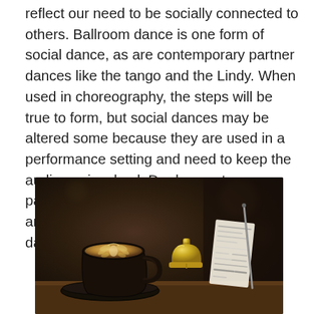reflect our need to be socially connected to others. Ballroom dance is one form of social dance, as are contemporary partner dances like the tango and the Lindy. When used in choreography, the steps will be true to form, but social dances may be altered some because they are used in a performance setting and need to keep the audience involved. Do dance at your partner's dance level – making them feel and look good is part of the fun on the dance floor!
[Figure (photo): A dark-toned photograph of a latte coffee in a black cup on a saucer on a wooden table, with a gold service bell and a receipt/check in the background.]